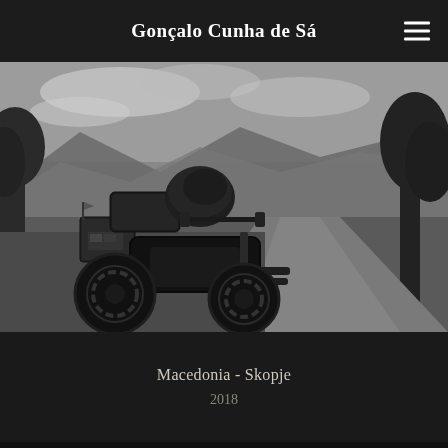Gonçalo Cunha de Sá
[Figure (photo): Black and white photograph of a heavily loaded touring motorcycle parked on a gravel road, with trees, open countryside, and mountains visible in the background under a cloudy sky.]
Macedonia - Skopje
2018